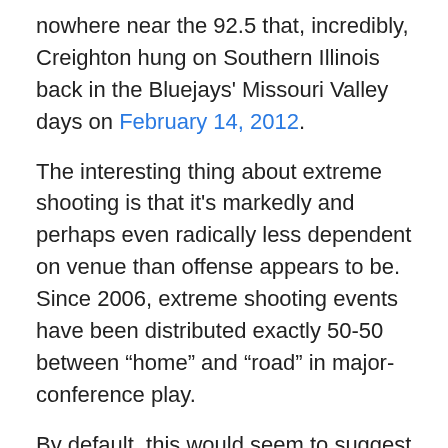nowhere near the 92.5 that, incredibly, Creighton hung on Southern Illinois back in the Bluejays' Missouri Valley days on February 14, 2012.
The interesting thing about extreme shooting is that it's markedly and perhaps even radically less dependent on venue than offense appears to be. Since 2006, extreme shooting events have been distributed exactly 50-50 between “home” and “road” in major-conference play.
By default, this would seem to suggest that outlandish shot volume must be somewhat venue-dependent, at least more so than outlandish shooting. Let’s hold that thought. For now, we can observe simply that teams landing on the 1.45-and-over extreme offense list are equally ridiculous at both accuracy (average eFG percentage: 69.3) and volume (mean SVI: 108.2).